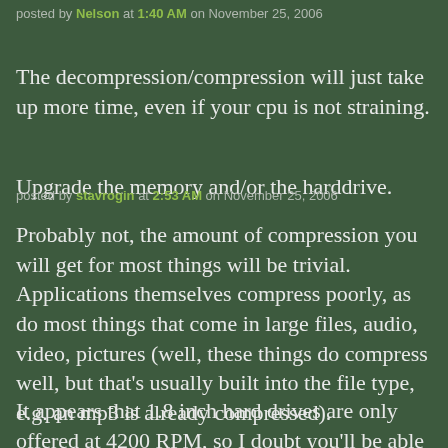posted by Nelson at 1:40 AM on November 25, 2006
The decompression/compression will just take up more time, even if your cpu is not straining.
Upgrade the memory and/or the harddrive.
posted by stavrogin at 2:53 AM on November 25, 2006
Probably not, the amount of compression you will get for most things will be trivial. Applications themselves compress poorly, as do most things that come in large files, audio, video, pictures (well, these things do compress well, but that's usually built into the file type, e.g. an mp3 is already compressed).
It appears that 1.8 inch hard drives are only offered at 4200 RPM, so I doubt you'll be able to pick up a faster drive. Your